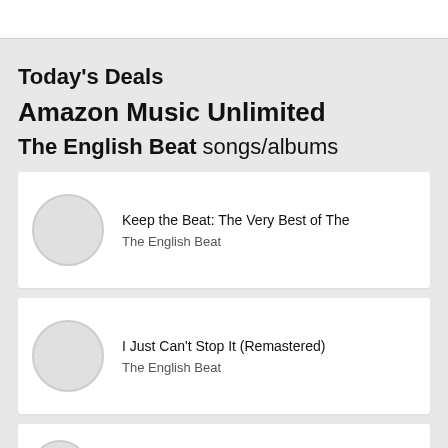[Figure (screenshot): White top bar / search bar area]
Today's Deals
Amazon Music Unlimited
The English Beat songs/albums
Keep the Beat: The Very Best of The — The English Beat
I Just Can't Stop It (Remastered) — The English Beat
Special Beat Service (Remastered) — The English Beat